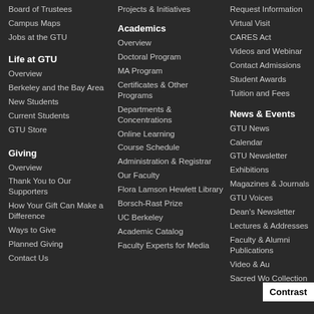Board of Trustees
Campus Maps
Jobs at the GTU
Life at GTU
Overview
Berkeley and the Bay Area
New Students
Current Students
GTU Store
Giving
Overview
Thank You to Our Supporters
How Your Gift Can Make a Difference
Ways to Give
Planned Giving
Contact Us
Projects & Initiatives
Academics
Overview
Doctoral Program
MA Program
Certificates & Other Programs
Departments & Concentrations
Online Learning
Course Schedule
Administration & Registrar
Our Faculty
Flora Lamson Hewlett Library
Borsch-Rast Prize
UC Berkeley
Academic Catalog
Faculty Experts for Media
Request Information
Virtual Visit
CARES Act
Videos and Webinar
Contact Admissions
Student Awards
Tuition and Fees
News & Events
GTU News
Calendar
GTU Newsletter
Exhibitions
Magazines & Journals
GTU Voices
Dean's Newsletter
Lectures & Addresses
Faculty & Alumni Publications
Video & Au...
Sacred Wo... Collection